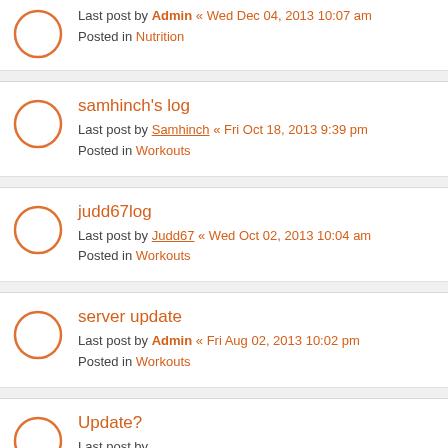Last post by Admin « Wed Dec 04, 2013 10:07 am
Posted in Nutrition
samhinch's log
Last post by Samhinch « Fri Oct 18, 2013 9:39 pm
Posted in Workouts
judd67log
Last post by Judd67 « Wed Oct 02, 2013 10:04 am
Posted in Workouts
server update
Last post by Admin « Fri Aug 02, 2013 10:02 pm
Posted in Workouts
Update?
Last post by ...